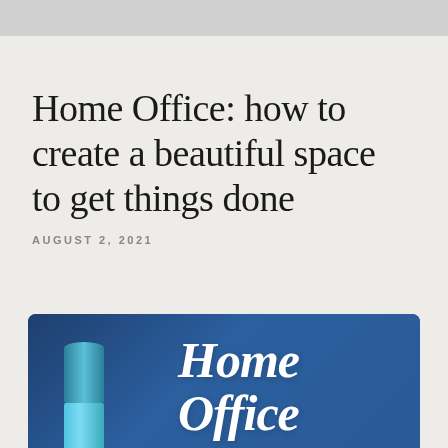Home Office: how to create a beautiful space to get things done
AUGUST 2, 2021
[Figure (illustration): Dark blue card/poster with cursive 'Home Office' text in white and a blue pen/marker in the lower left, with subtitle text 'how to create a beautiful' at the bottom in white spaced letters.]